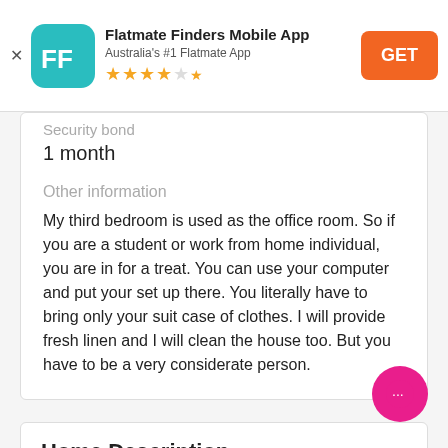[Figure (screenshot): Flatmate Finders Mobile App banner with teal FF logo icon, app name 'Flatmate Finders Mobile App', subtitle 'Australia's #1 Flatmate App', 4.5 star rating, and orange GET button]
Security bond
1 month
Other information
My third bedroom is used as the office room. So if you are a student or work from home individual, you are in for a treat. You can use your computer and put your set up there. You literally have to bring only your suit case of clothes. I will provide fresh linen and I will clean the house too. But you have to be a very considerate person.
Home Description
Description of the home